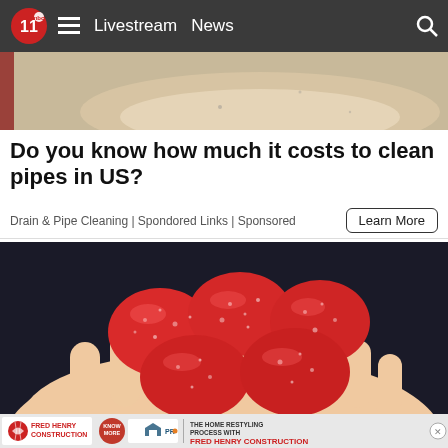Livestream  News
[Figure (photo): Top portion of a food/drink photo, cropped, showing what appears to be a bowl with liquid on a red background]
Do you know how much it costs to clean pipes in US?
Drain & Pipe Cleaning | Spondored Links | Sponsored
[Figure (photo): Hand holding several red sugar-coated gummy candies against a dark background]
[Figure (infographic): Fred Henry Construction advertisement banner with Know More button and HOME PRO logo. Text: THE HOME RESTYLING PROCESS WITH FRED HENRY CONSTRUCTION]